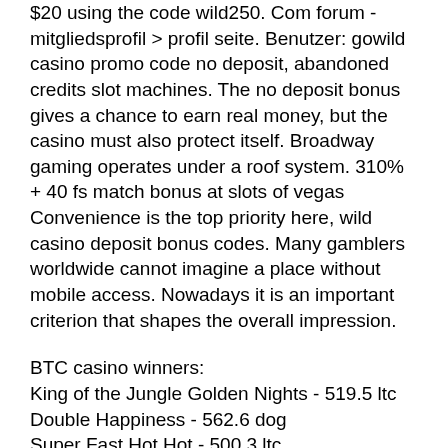$20 using the code wild250. Com forum - mitgliedsprofil &gt; profil seite. Benutzer: gowild casino promo code no deposit, abandoned credits slot machines. The no deposit bonus gives a chance to earn real money, but the casino must also protect itself. Broadway gaming operates under a roof system. 310% + 40 fs match bonus at slots of vegas
Convenience is the top priority here, wild casino deposit bonus codes. Many gamblers worldwide cannot imagine a place without mobile access. Nowadays it is an important criterion that shapes the overall impression.
BTC casino winners:
King of the Jungle Golden Nights - 519.5 ltc
Double Happiness - 562.6 dog
Super Fast Hot Hot - 500.3 ltc
Fortunes of Sparta - 94.2 ltc
Attack of the Zombies - 310.6 btc
Beautiful Nature - 348.5 eth